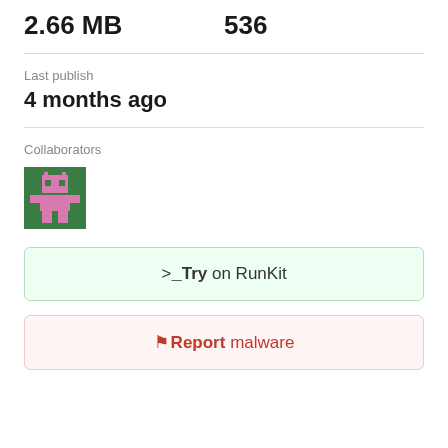2.66 MB   536
Last publish
4 months ago
Collaborators
[Figure (illustration): Pixel art avatar icon — green background with pink robot/alien character]
>_Try on RunKit
Report malware